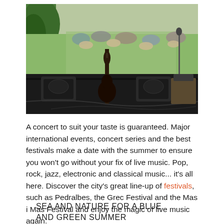[Figure (photo): Outdoor music festival scene viewed from stage, showing a guitar and speakers in the foreground with an audience seated at tables in a garden setting in the background.]
A concert to suit your taste is guaranteed. Major international events, concert series and the best festivals make a date with the summer to ensure you won't go without your fix of live music. Pop, rock, jazz, electronic and classical music... it's all here. Discover the city's great line-up of festivals, such as Pedralbes, the Grec Festival and the Mas i Mas Festival and enjoy the magic of live music again.
SEA AND NATURE FOR A BLUE AND GREEN SUMMER